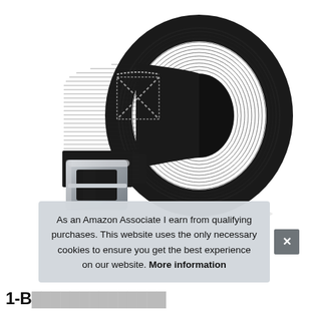[Figure (photo): A black nylon tactical belt with a silver square buckle, coiled/rolled up against a white background. The belt shows X-shaped stitching pattern near the buckle end.]
As an Amazon Associate I earn from qualifying purchases. This website uses the only necessary cookies to ensure you get the best experience on our website. More information
1-B...